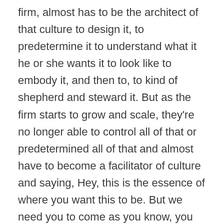firm, almost has to be the architect of that culture to design it, to predetermine it to understand what it he or she wants it to look like to embody it, and then to, to kind of shepherd and steward it. But as the firm starts to grow and scale, they're no longer able to control all of that or predetermined all of that and almost have to become a facilitator of culture and saying, Hey, this is the essence of where you want this to be. But we need you to come as you know, you as an employee to come and help us shape what this looks like. So I think of it as a leader, as an architect leader, as a facilitator. But the third thing that you just mentioned is a leader as a coach, whether you you know, outsource that or take on some of those things. What are your thoughts about